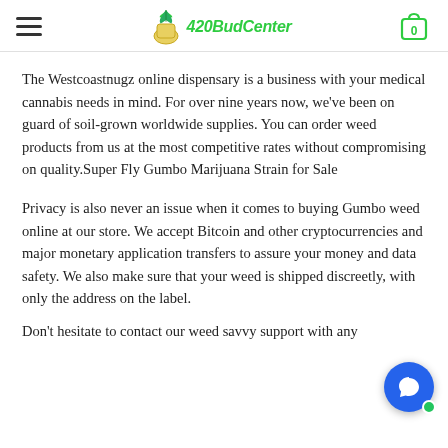420BudCenter — navigation header with hamburger menu and cart icon
The Westcoastnugz online dispensary is a business with your medical cannabis needs in mind. For over nine years now, we've been on guard of soil-grown worldwide supplies. You can order weed products from us at the most competitive rates without compromising on quality.Super Fly Gumbo Marijuana Strain for Sale
Privacy is also never an issue when it comes to buying Gumbo weed online at our store. We accept Bitcoin and other cryptocurrencies and major monetary application transfers to assure your money and data safety. We also make sure that your weed is shipped discreetly, with only the address on the label.
Don't hesitate to contact our weed savvy support with any